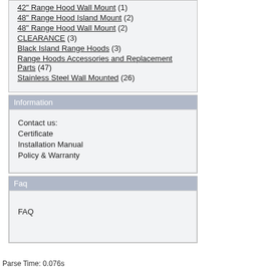42" Range Hood Wall Mount (1)
48" Range Hood Island Mount (2)
48" Range Hood Wall Mount (2)
CLEARANCE (3)
Black Island Range Hoods (3)
Range Hoods Accessories and Replacement Parts (47)
Stainless Steel Wall Mounted (26)
Information
Contact us:
Certificate
Installation Manual
Policy & Warranty
Faq
FAQ
Parse Time: 0.076s